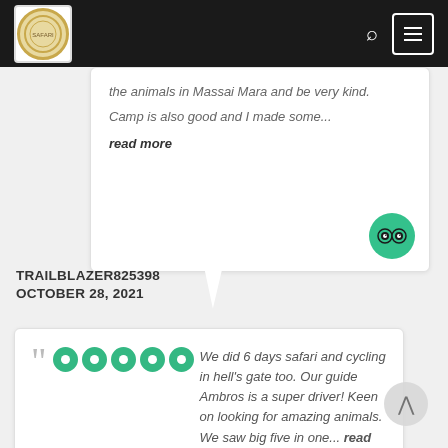Navigation bar with logo, search icon, and menu icon
the animals in Massai Mara and be very kind.
Camp is also good and I made some... read more
TRAILBLAZER825398
OCTOBER 28, 2021
We did 6 days safari and cycling in hell's gate too. Our guide Ambros is a super driver! Keen on looking for amazing animals. We saw big five in one... read more